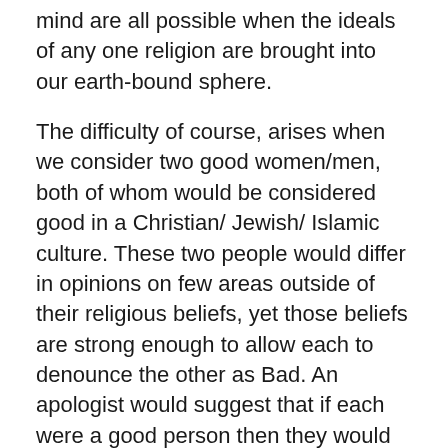mind are all possible when the ideals of any one religion are brought into our earth-bound sphere.
The difficulty of course, arises when we consider two good women/men, both of whom would be considered good in a Christian/ Jewish/ Islamic culture. These two people would differ in opinions on few areas outside of their religious beliefs, yet those beliefs are strong enough to allow each to denounce the other as Bad. An apologist would suggest that if each were a good person then they would forgive the other for their indiscretion of being born into the wrong culture, and therefore be able to overlook the religious affinity. However, that is a perfect-world view. If sufficient pressure were brought to bare then each would eventually be likely to denounce the other – the religious views are simply too polarised to allow for mutual respect to be universal. At least, when combined